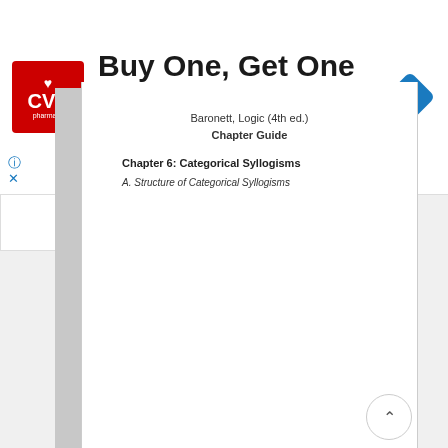[Figure (screenshot): CVS Pharmacy advertisement banner: 'Buy One, Get One 50% Off' with CVS logo and navigation arrow icon]
[Figure (screenshot): Web browser UI elements: collapse/chevron-up button tab, PDF viewer toolbar with page navigation (1 of 5), zoom controls, and orange progress bar]
Baronett, Logic (4th ed.)
Chapter Guide
Chapter 6: Categorical Syllogisms
A. Str...d of Cat...ical Syll...s